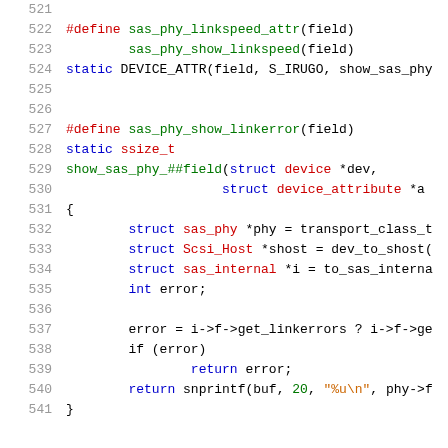Source code listing, lines 521-541, C kernel code for SAS PHY link error handling
521
522   #define sas_phy_linkspeed_attr(field)
523           sas_phy_show_linkspeed(field)
524   static DEVICE_ATTR(field, S_IRUGO, show_sas_phy
525
526
527   #define sas_phy_show_linkerror(field)
528   static ssize_t
529   show_sas_phy_##field(struct device *dev,
530                           struct device_attribute *a
531   {
532           struct sas_phy *phy = transport_class_t
533           struct Scsi_Host *shost = dev_to_shost(
534           struct sas_internal *i = to_sas_interna
535           int error;
536
537           error = i->f->get_linkerrors ? i->f->ge
538           if (error)
539                   return error;
540           return snprintf(buf, 20, "%u\n", phy->f
541   }